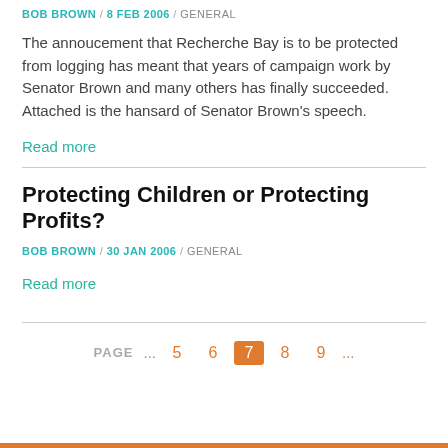BOB BROWN / 8 FEB 2006 / GENERAL
The annoucement that Recherche Bay is to be protected from logging has meant that years of campaign work by Senator Brown and many others has finally succeeded. Attached is the hansard of Senator Brown's speech.
Read more
Protecting Children or Protecting Profits?
BOB BROWN / 30 JAN 2006 / GENERAL
Read more
PAGE ... 5 6 7 8 9 ...